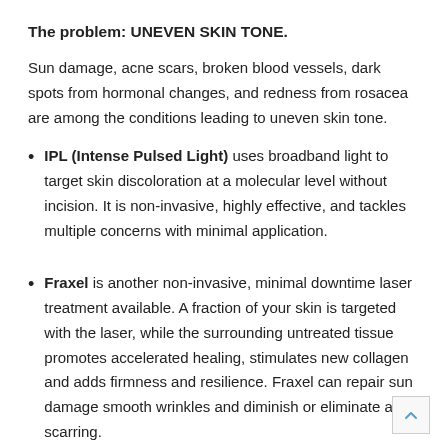The problem: UNEVEN SKIN TONE.
Sun damage, acne scars, broken blood vessels, dark spots from hormonal changes, and redness from rosacea are among the conditions leading to uneven skin tone.
IPL (Intense Pulsed Light) uses broadband light to target skin discoloration at a molecular level without incision. It is non-invasive, highly effective, and tackles multiple concerns with minimal application.
Fraxel is another non-invasive, minimal downtime laser treatment available. A fraction of your skin is targeted with the laser, while the surrounding untreated tissue promotes accelerated healing, stimulates new collagen and adds firmness and resilience. Fraxel can repair sun damage smooth wrinkles and diminish or eliminate acne scarring.